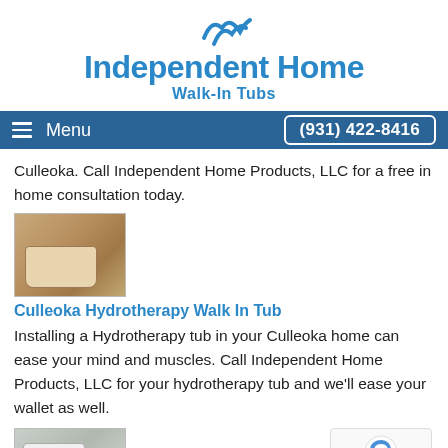[Figure (logo): Independent Home Walk-In Tubs logo with wave icon above the text]
Menu  (931) 422-8416
Culleoka. Call Independent Home Products, LLC for a free in home consultation today.
[Figure (photo): Photo of a walk-in tub in a bathroom]
Culleoka Hydrotherapy Walk In Tub
Installing a Hydrotherapy tub in your Culleoka home can ease your mind and muscles. Call Independent Home Products, LLC for your hydrotherapy tub and we'll ease your wallet as well.
[Figure (photo): Photo of a white walk-in tub]